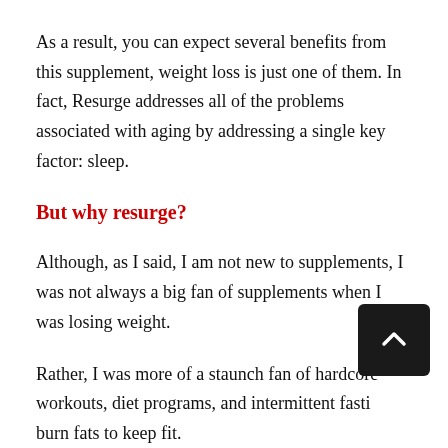As a result, you can expect several benefits from this supplement, weight loss is just one of them. In fact, Resurge addresses all of the problems associated with aging by addressing a single key factor: sleep.
But why resurge?
Although, as I said, I am not new to supplements, I was not always a big fan of supplements when I was losing weight.
Rather, I was more of a staunch fan of hardcore workouts, diet programs, and intermittent fasting to burn fats to keep fit.
But when I saw the benefits of Resurge and the overwhelming evidence that what the product